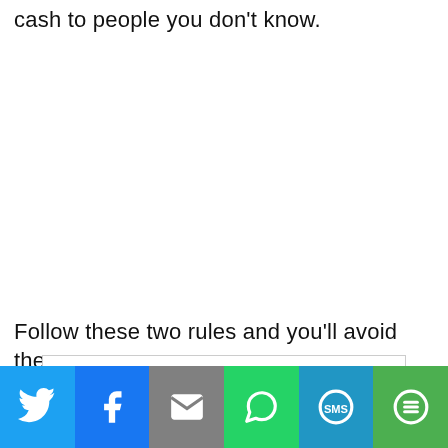cash to people you don't know.
Follow these two rules and you'll avoid these
[Figure (other): Advertisement box with circular logo icon and text 'Save Big on Bridgestone Tires' with an upward arrow]
[Figure (infographic): Social share bar with six buttons: Twitter (blue bird icon), Facebook (blue f icon), Email (grey envelope icon), WhatsApp (green phone icon), SMS (blue SMS icon), More (green circle with lines icon)]